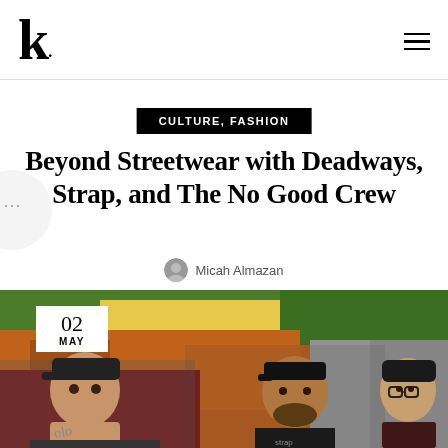k.
CULTURE, FASHION
Beyond Streetwear with Deadways, Strap, and The No Good Crew
Micah Almazan
[Figure (photo): Three men posed in a collage-style photo with graffiti/art backgrounds; a white date box overlaid reading 02 MAY in the upper left]
02 MAY